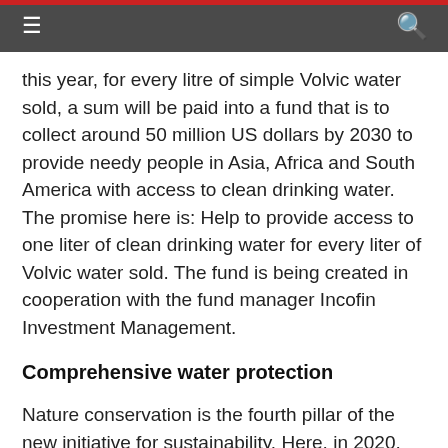≡  [navigation header bar]  🔍
this year, for every litre of simple Volvic water sold, a sum will be paid into a fund that is to collect around 50 million US dollars by 2030 to provide needy people in Asia, Africa and South America with access to clean drinking water. The promise here is: Help to provide access to one liter of clean drinking water for every liter of Volvic water sold. The fund is being created in cooperation with the fund manager Incofin Investment Management.
Comprehensive water protection
Nature conservation is the fourth pillar of the new initiative for sustainability. Here, in 2020, the water brands are to increase their involvement in the 70 watershed protection projects in which they are active. In cooperation with a network of